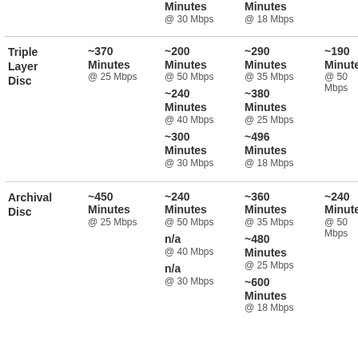| Disc Type | Col1 | Col2 | Col3 | Col4 |
| --- | --- | --- | --- | --- |
|  | Minutes @ 30 Mbps | Minutes @ 18 Mbps |  |  |
| Triple Layer Disc | ~370 Minutes @ 25 Mbps | ~200 Minutes @ 50 Mbps | ~240 Minutes @ 40 Mbps | ~300 Minutes @ 30 Mbps | ~290 Minutes @ 35 Mbps | ~380 Minutes @ 25 Mbps | ~496 Minutes @ 18 Mbps | ~190 Minutes @ 50 Mbps |
| Archival Disc | ~450 Minutes @ 25 Mbps | ~240 Minutes @ 50 Mbps | n/a @ 40 Mbps | n/a @ 30 Mbps | ~360 Minutes @ 35 Mbps | ~480 Minutes @ 25 Mbps | ~600 Minutes ... | ~240 Minutes @ 50 Mbps |